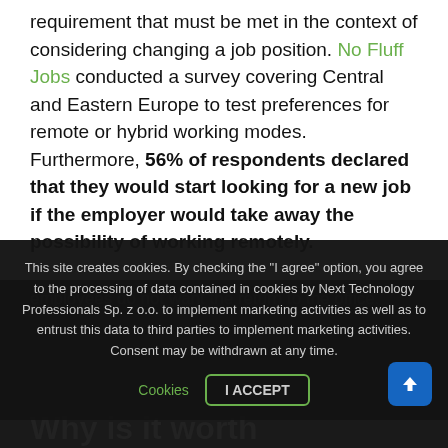requirement that must be met in the context of considering changing a job position. No Fluff Jobs conducted a survey covering Central and Eastern Europe to test preferences for remote or hybrid working modes. Furthermore, 56% of respondents declared that they would start looking for a new job if the employer would take away the possibility of working remotely.
This site creates cookies. By checking the "I agree" option, you agree to the processing of data contained in cookies by Next Technology Professionals Sp. z o.o. to implement marketing activities as well as to entrust this data to third parties to implement marketing activities. Consent may be withdrawn at any time.
employees do not want the return to the office.
Why is it worth